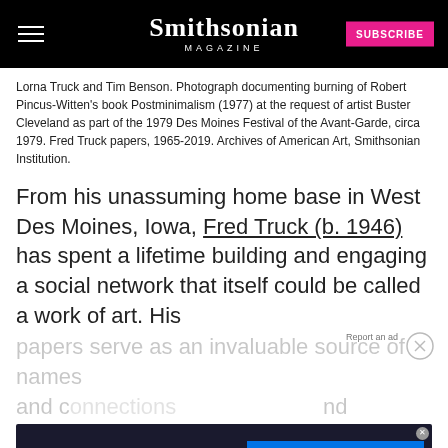Smithsonian MAGAZINE
Lorna Truck and Tim Benson. Photograph documenting burning of Robert Pincus-Witten's book Postminimalism (1977) at the request of artist Buster Cleveland as part of the 1979 Des Moines Festival of the Avant-Garde, circa 1979. Fred Truck papers, 1965-2019. Archives of American Art, Smithsonian Institution.
From his unassuming home base in West Des Moines, Iowa, Fred Truck (b. 1946) has spent a lifetime building and engaging a social network that itself could be called a work of art. His papers serve as an invaluable source of names and c[onnections]... and signals the Archives' commitment to collecting